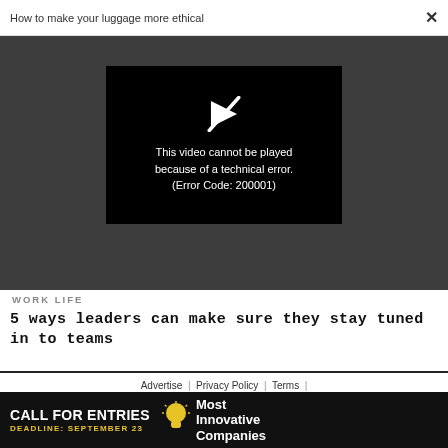How to make your luggage more ethical  ×
[Figure (screenshot): Video player showing error message: 'This video cannot be played because of a technical error. (Error Code: 200001)' on a black background with a play icon, all set within a dark gray video area background.]
WORK LIFE
5 ways leaders can make sure they stay tuned in to teams
Advertise | Privacy Policy | Terms |
Notice of Collection | Do Not Sell My Data | Permissions | Help
[Figure (infographic): Black advertisement banner: 'CALL FOR ENTRIES' in white bold text, 'DEADLINE: SEPTEMBER 23' in yellow, lightbulb icon, and 'Most Innovative Companies' in white bold text on the right.]